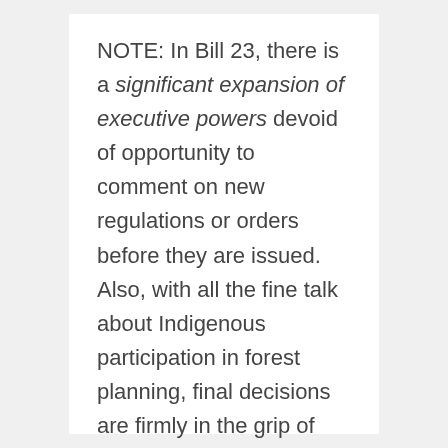NOTE: In Bill 23, there is a significant expansion of executive powers devoid of opportunity to comment on new regulations or orders before they are issued. Also, with all the fine talk about Indigenous participation in forest planning, final decisions are firmly in the grip of